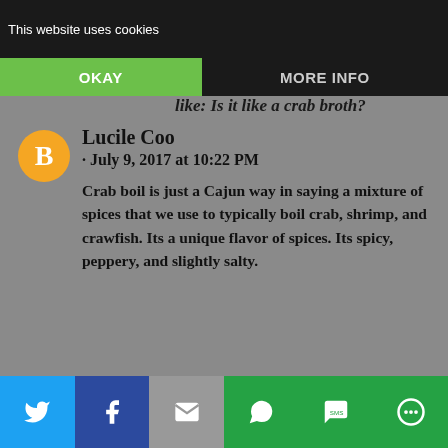This website uses cookies
OKAY
MORE INFO
like: Is it like a crab broth?
Lucile Coo
· July 9, 2017 at 10:22 PM
Crab boil is just a Cajun way in saying a mixture of spices that we use to typically boil crab, shrimp, and crawfish. Its a unique flavor of spices. Its spicy, peppery, and slightly salty.
REPLY